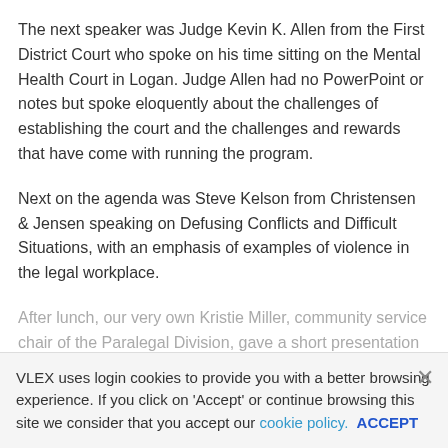The next speaker was Judge Kevin K. Allen from the First District Court who spoke on his time sitting on the Mental Health Court in Logan. Judge Allen had no PowerPoint or notes but spoke eloquently about the challenges of establishing the court and the challenges and rewards that have come with running the program.
Next on the agenda was Steve Kelson from Christensen & Jensen speaking on Defusing Conflicts and Difficult Situations, with an emphasis of examples of violence in the legal workplace.
After lunch, our very own Kristie Miller, community service chair of the Paralegal Division, gave a short presentation on Mediation and Yoga for work-life balance.
Following that, Diane Akiyama, Assistant Disciplinary Counsel of the Office of,
VLEX uses login cookies to provide you with a better browsing experience. If you click on 'Accept' or continue browsing this site we consider that you accept our cookie policy. ACCEPT